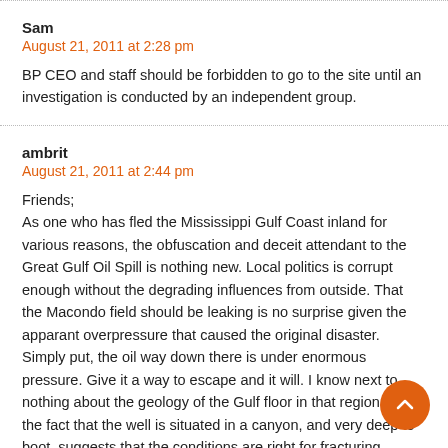Sam
August 21, 2011 at 2:28 pm
BP CEO and staff should be forbidden to go to the site until an investigation is conducted by an independent group.
ambrit
August 21, 2011 at 2:44 pm
Friends;
As one who has fled the Mississippi Gulf Coast inland for various reasons, the obfuscation and deceit attendant to the Great Gulf Oil Spill is nothing new. Local politics is corrupt enough without the degrading influences from outside. That the Macondo field should be leaking is no surprise given the apparant overpressure that caused the original disaster. Simply put, the oil way down there is under enormous pressure. Give it a way to escape and it will. I know next to nothing about the geology of the Gulf floor in that region, but the fact that the well is situated in a canyon, and very deep to boot, suggests that the conditions are right for fracturing subsurface dispersal of high pressure gasses and liquids. Once the impermeable rock layer that originally kept the oil